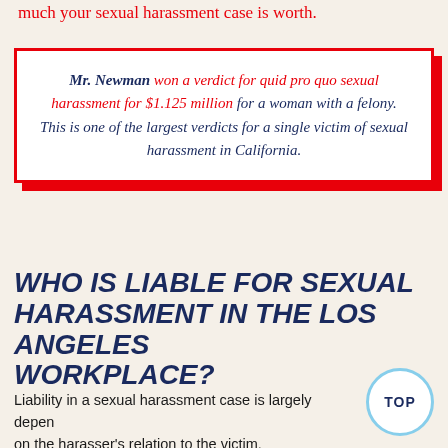much your sexual harassment case is worth.
Mr. Newman won a verdict for quid pro quo sexual harassment for $1.125 million for a woman with a felony. This is one of the largest verdicts for a single victim of sexual harassment in California.
WHO IS LIABLE FOR SEXUAL HARASSMENT IN THE LOS ANGELES WORKPLACE?
Liability in a sexual harassment case is largely depend on the harasser's relation to the victim.